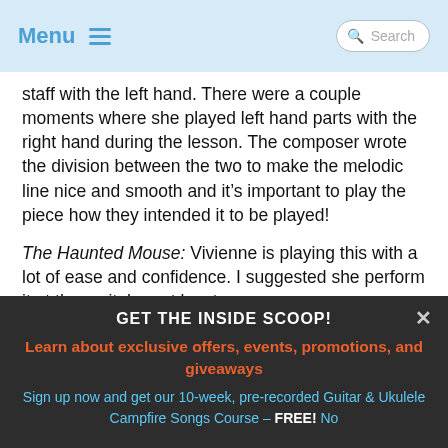Menu  Search
staff with the left hand. There were a couple moments where she played left hand parts with the right hand during the lesson. The composer wrote the division between the two to make the melodic line nice and smooth and it's important to play the piece how they intended it to be played!
The Haunted Mouse: Vivienne is playing this with a lot of ease and confidence. I suggested she perform it at the recital, or at least
GET THE INSIDE SCOOP!
Learn about exclusive offers, events, promotions, and giveaways
Sign up now and get our 10-week, pre-recorded Guitar & Ukulele Campfire Songs Course - FREE! No